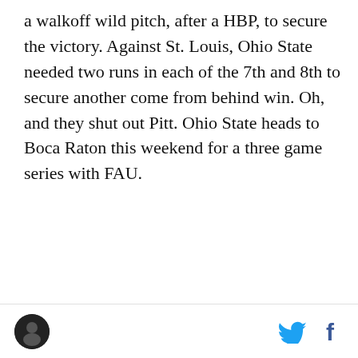a walkoff wild pitch, after a HBP, to secure the victory. Against St. Louis, Ohio State needed two runs in each of the 7th and 8th to secure another come from behind win. Oh, and they shut out Pitt. Ohio State heads to Boca Raton this weekend for a three game series with FAU.
[Figure (photo): NHTSA advertisement - 'Ride Sober or Get Pulled Over' campaign showing motorcyclists in a dark, gritty black and white photo with the NHTSA logo and a 'Learn More' button]
Site logo icon | Twitter bird icon | Facebook f icon